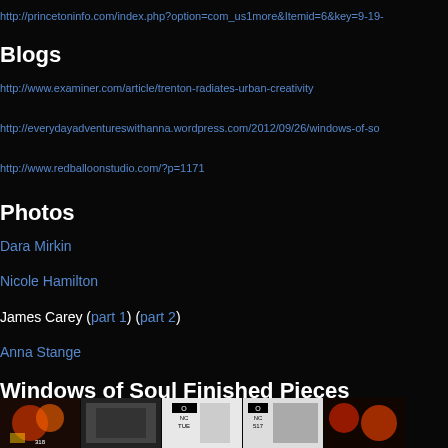http://princetoninfo.com/index.php?option=com_us1more&Itemid=6&key=9-19-...
Blogs
http://www.examiner.com/article/trenton-radiates-urban-creativity
http://everydayadventureswithanna.wordpress.com/2012/09/26/windows-of-so...
http://www.redballoonstudio.com/?p=1171
Photos
Dara Mirkin
Nicole Hamilton
James Carey (part 1) (part 2)
Anna Stange
Windows of Soul Finished Pieces
[Figure (photo): Row of thumbnail photos showing colorful artwork pieces at the bottom of the page]